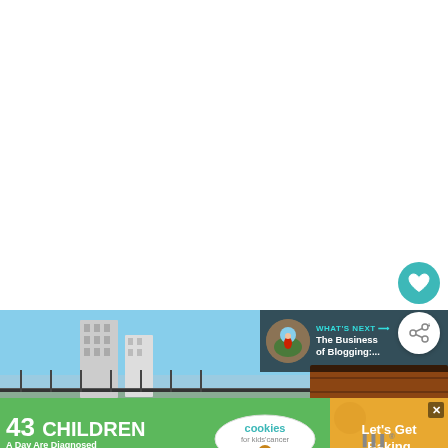[Figure (photo): White blank area at top of web page screenshot]
[Figure (photo): Circular teal heart/favorite button icon on right side]
[Figure (photo): Circular white share button icon on right side]
[Figure (photo): Rooftop terrace photo showing city skyline with tall buildings, blue sky, and wooden bench/railing]
[Figure (screenshot): What's Next overlay with thumbnail and text: WHAT'S NEXT → The Business of Blogging:...]
[Figure (screenshot): Advertisement banner: 43 CHILDREN A Day Are Diagnosed With Cancer In the U.S. — cookies for kids cancer — Let's Get Baking, with close X button and scroll indicator]